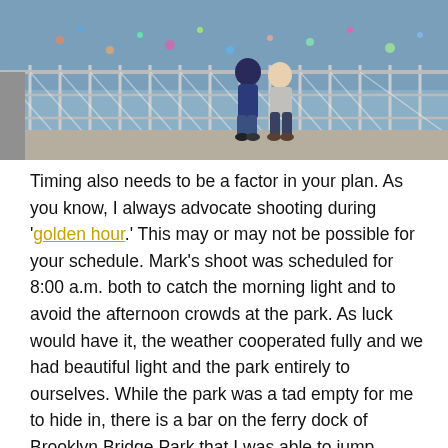[Figure (photo): A couple photographed near a waterfront railing/fence, likely at Brooklyn Bridge Park. Outdoor daytime photo showing two people standing close together by a railing with water and structure in background.]
Timing also needs to be a factor in your plan. As you know, I always advocate shooting during 'golden hour.' This may or may not be possible for your schedule. Mark's shoot was scheduled for 8:00 a.m. both to catch the morning light and to avoid the afternoon crowds at the park. As luck would have it, the weather cooperated fully and we had beautiful light and the park entirely to ourselves. While the park was a tad empty for me to hide in, there is a bar on the ferry dock of Brooklyn Bridge Park that I was able to jump behind. Bottom line, aim for the best light for your shoot, and if that doesn't work with your schedule, then aim for the best time to hide your photographer.